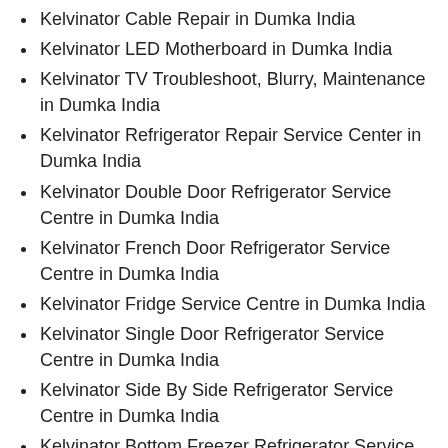Kelvinator Cable Repair in Dumka India
Kelvinator LED Motherboard in Dumka India
Kelvinator TV Troubleshoot, Blurry, Maintenance in Dumka India
Kelvinator Refrigerator Repair Service Center in Dumka India
Kelvinator Double Door Refrigerator Service Centre in Dumka India
Kelvinator French Door Refrigerator Service Centre in Dumka India
Kelvinator Fridge Service Centre in Dumka India
Kelvinator Single Door Refrigerator Service Centre in Dumka India
Kelvinator Side By Side Refrigerator Service Centre in Dumka India
Kelvinator Bottom Freezer Refrigerator Service Centre in Dumka India
Kelvinator Refrigerator Repair Service in Dumka India
Kelvinator Refrigerator PCB Repair in Dumka India
Kelvinator Refrigerator Repair in Dumka India
Kelvinator Deep Freezer Service Centre in Dumka India